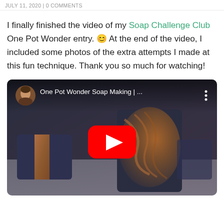JULY 11, 2020 | 0 COMMENTS
I finally finished the video of my Soap Challenge Club One Pot Wonder entry. 😊 At the end of the video, I included some photos of the extra attempts I made at this fun technique. Thank you so much for watching!
[Figure (screenshot): YouTube video thumbnail for 'One Pot Wonder Soap Making | ...' showing bars of handmade dark blue and orange swirled soap, with a red YouTube play button in the center, a circular avatar of a woman in the top-left, and three-dot menu in the top-right.]